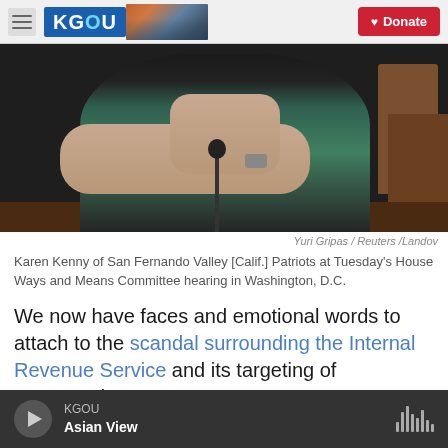KGOU | Donate
[Figure (photo): Person sitting at a table with hands clasped near face, wearing a black and teal shirt, with a microphone visible. Restaurant or hearing room setting.]
Yuri Gripas / Reuters /Landov
Karen Kenny of San Fernando Valley [Calif.] Patriots at Tuesday's House Ways and Means Committee hearing in Washington, D.C.
We now have faces and emotional words to attach to the scandal surrounding the Internal Revenue Service and its targeting of conservative "tea party"
KGOU
Asian View